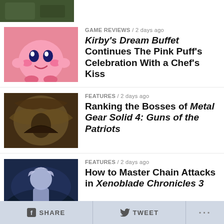[Figure (photo): Partial top thumbnail showing a dark green/nature scene, cropped at top of page]
GAME REVIEWS / 2 days ago
Kirby's Dream Buffet Continues The Pink Puff's Celebration With a Chef's Kiss
[Figure (photo): Kirby character - pink round character with happy face]
FEATURES / 2 days ago
Ranking the Bosses of Metal Gear Solid 4: Guns of the Patriots
[Figure (photo): Metal Gear Solid 4 boss character - dark feathered/winged figure]
FEATURES / 2 days ago
How to Master Chain Attacks in Xenoblade Chronicles 3
[Figure (photo): Xenoblade Chronicles 3 character - white-haired figure in purple/dark scene]
CULTURE / 2 days ago
Final Fantasy XVI's Naoki Yoshida Talks MMOs, Tech, And More
[Figure (photo): Final Fantasy XVI - Naoki Yoshida at a presentation stage with blue lighting]